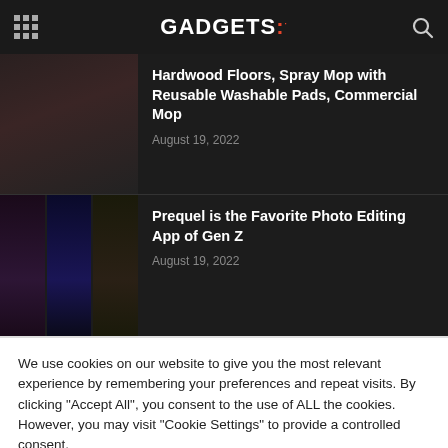GADGETS:
Hardwood Floors, Spray Mop with Reusable Washable Pads, Commercial Mop
August 19, 2022
Prequel is the Favorite Photo Editing App of Gen Z
August 19, 2022
We use cookies on our website to give you the most relevant experience by remembering your preferences and repeat visits. By clicking "Accept All", you consent to the use of ALL the cookies. However, you may visit "Cookie Settings" to provide a controlled consent.